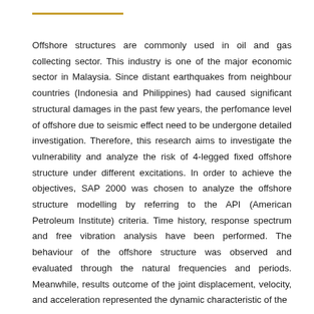Offshore structures are commonly used in oil and gas collecting sector. This industry is one of the major economic sector in Malaysia. Since distant earthquakes from neighbour countries (Indonesia and Philippines) had caused significant structural damages in the past few years, the perfomance level of offshore due to seismic effect need to be undergone detailed investigation. Therefore, this research aims to investigate the vulnerability and analyze the risk of 4-legged fixed offshore structure under different excitations. In order to achieve the objectives, SAP 2000 was chosen to analyze the offshore structure modelling by referring to the API (American Petroleum Institute) criteria. Time history, response spectrum and free vibration analysis have been performed. The behaviour of the offshore structure was observed and evaluated through the natural frequencies and periods. Meanwhile, results outcome of the joint displacement, velocity, and acceleration represented the dynamic characteristic of the